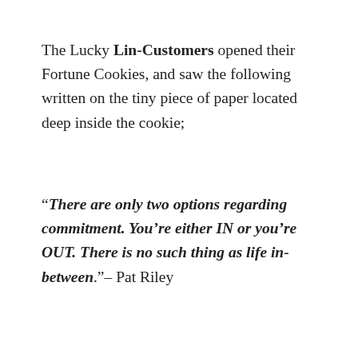The Lucky Lin-Customers opened their Fortune Cookies, and saw the following written on the tiny piece of paper located deep inside the cookie;
“There are only two options regarding commitment. You’re either IN or you’re OUT. There is no such thing as life in-between.” – Pat Riley